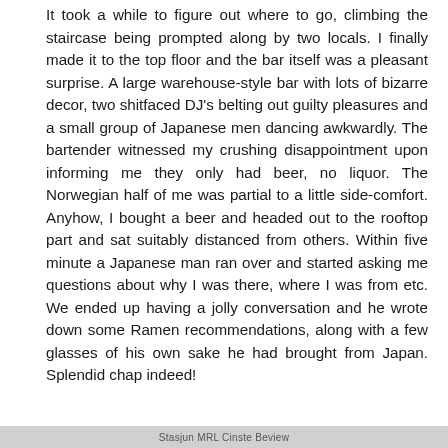It took a while to figure out where to go, climbing the staircase being prompted along by two locals. I finally made it to the top floor and the bar itself was a pleasant surprise. A large warehouse-style bar with lots of bizarre decor, two shitfaced DJ's belting out guilty pleasures and a small group of Japanese men dancing awkwardly. The bartender witnessed my crushing disappointment upon informing me they only had beer, no liquor. The Norwegian half of me was partial to a little side-comfort. Anyhow, I bought a beer and headed out to the rooftop part and sat suitably distanced from others. Within five minute a Japanese man ran over and started asking me questions about why I was there, where I was from etc. We ended up having a jolly conversation and he wrote down some Ramen recommendations, along with a few glasses of his own sake he had brought from Japan. Splendid chap indeed!
Stasjun MRL Cinste Beview